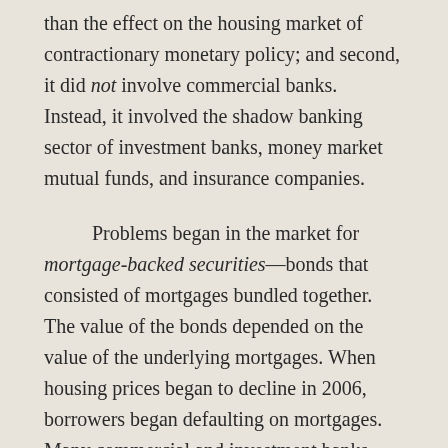than the effect on the housing market of contractionary monetary policy; and second, it did not involve commercial banks.  Instead, it involved the shadow banking sector of investment banks, money market mutual funds, and insurance companies.
Problems began in the market for mortgage-backed securities—bonds that consisted of mortgages bundled together. The value of the bonds depended on the value of the underlying mortgages. When housing prices began to decline in 2006, borrowers began defaulting on mortgages.  Many commercial and investment banks owned these mortgage-backed securities, so the decline in the value of the securities caused